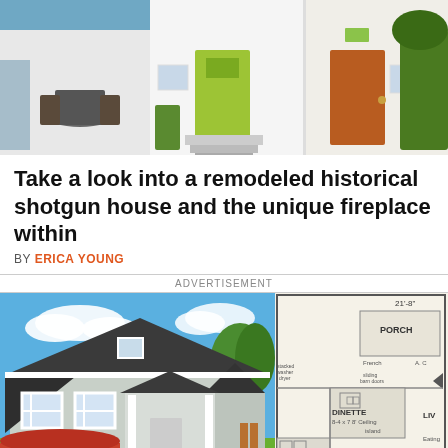[Figure (photo): Photo of two adjacent house fronts — one with a yellow-green door and one with an orange/brown door, with outdoor seating visible]
Take a look into a remodeled historical shotgun house and the unique fireplace within
BY ERICA YOUNG
ADVERTISEMENT
[Figure (photo): Rendered illustration of a small craftsman-style cottage house with gray siding, dark roof, white trim, covered front porch, and landscaped yard]
[Figure (schematic): Partial floor plan showing PORCH, French doors, stacked washer/dryer, A/C, sliding barn doors, DINETTE 8-4x7 8' Ceiling, island, KIT 8-4x9, Sink, DW, Ref, LIVING area, 21'-8" dimension label, Eating area]